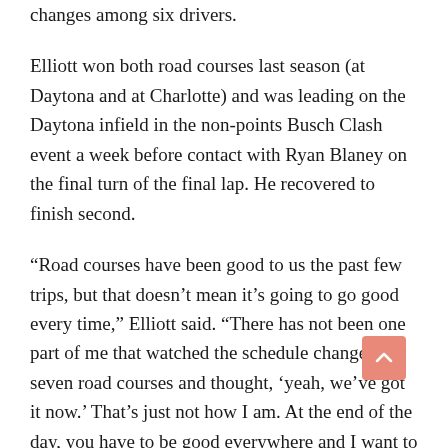changes among six drivers.
Elliott won both road courses last season (at Daytona and at Charlotte) and was leading on the Daytona infield in the non-points Busch Clash event a week before contact with Ryan Blaney on the final turn of the final lap. He recovered to finish second.
“Road courses have been good to us the past few trips, but that doesn’t mean it’s going to go good every time,” Elliott said. “There has not been one part of me that watched the schedule change, saw seven road courses and thought, ‘yeah, we’ve got it now.’ That’s just not how I am. At the end of the day, you have to be good everywhere and I want to be good everywhere. We as a team want to get to the point where we can win on any given week road course